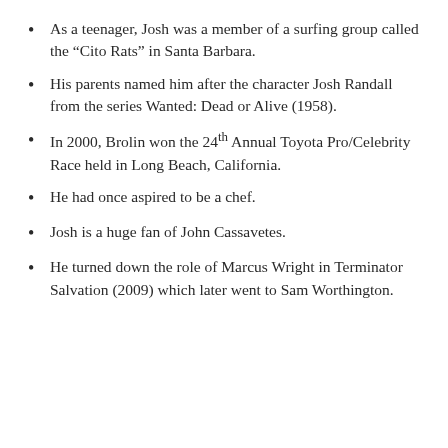As a teenager, Josh was a member of a surfing group called the “Cito Rats” in Santa Barbara.
His parents named him after the character Josh Randall from the series Wanted: Dead or Alive (1958).
In 2000, Brolin won the 24th Annual Toyota Pro/Celebrity Race held in Long Beach, California.
He had once aspired to be a chef.
Josh is a huge fan of John Cassavetes.
He turned down the role of Marcus Wright in Terminator Salvation (2009) which later went to Sam Worthington.